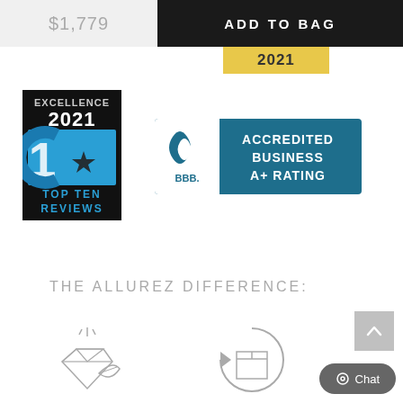$1,779
ADD TO BAG
2021
[Figure (logo): Excellence 2021 Top Ten Reviews badge — black background with blue '10' star logo, white and blue text]
[Figure (logo): BBB Accredited Business A+ Rating badge — teal/blue background with BBB flame logo and white text]
THE ALLUREZ DIFFERENCE:
[Figure (illustration): Diamond with sparkle and leaf icon (line art)]
[Figure (illustration): Package/box with circular arrow return icon (line art)]
Chat